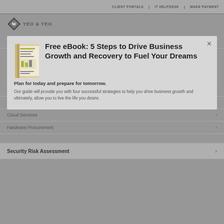CLIENT PORTALS | IT HELPDESK | MAKE PAYMENT
[Figure (logo): Yeo & Yeo logo with diamond/W shape icon and company name]
Business Accounting >
Managed Services >
IT Security >
Free eBook: 5 Steps to Drive Business Growth and Recovery to Fuel Your Dreams
Plan for today and prepare for tomorrow.
Our guide will provide you with four successful strategies to help you drive business growth and ultimately, allow you to live the life you desire.
Cloud Services >
Hardware Procurement >
Security Risk Assessment >